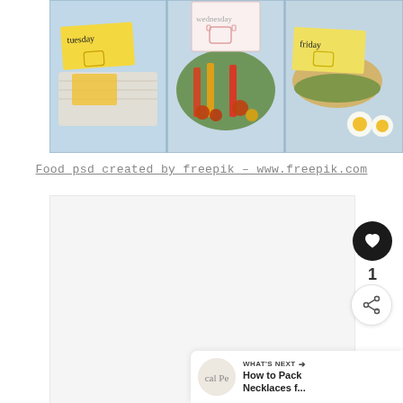[Figure (photo): Photo of meal-prep lunch boxes with sticky notes labeled tuesday, wednesday, and friday, showing various foods including wraps, salads with colorful vegetables, and sandwiches on a blue background]
Food psd created by freepik – www.freepik.com
[Figure (photo): Second image placeholder, mostly white/light gray, with UI overlay elements including a heart/like button, share button, count of 1, and a 'What's Next' bar at bottom right showing 'How to Pack Necklaces f...']